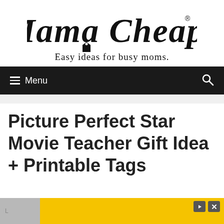[Figure (logo): Mama Cheaps logo with cursive script text and tagline 'Easy ideas for busy moms.' with a price tag icon]
≡ Menu
Picture Perfect Star Movie Teacher Gift Idea + Printable Tags
[Figure (other): Advertisement banner with yellow background and gray sidebar, with play/close control buttons]